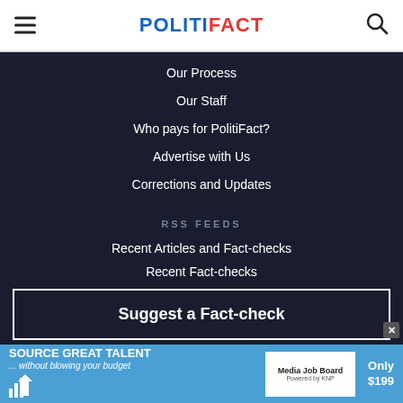POLITIFACT
Our Process
Our Staff
Who pays for PolitiFact?
Advertise with Us
Corrections and Updates
RSS FEEDS
Recent Articles and Fact-checks
Recent Fact-checks
Suggest a Fact-check
[Figure (screenshot): Advertisement banner: SOURCE GREAT TALENT ...without blowing your budget - Media Job Board - Only $199]